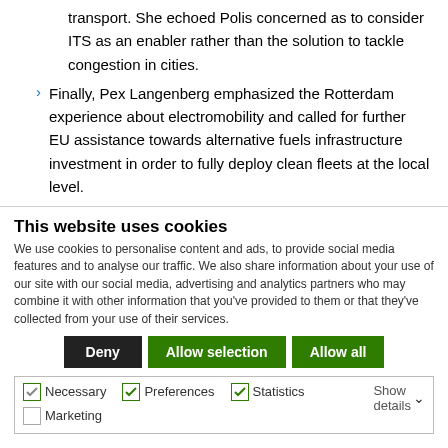transport. She echoed Polis concerned as to consider ITS as an enabler rather than the solution to tackle congestion in cities.
Finally, Pex Langenberg emphasized the Rotterdam experience about electromobility and called for further EU assistance towards alternative fuels infrastructure investment in order to fully deploy clean fleets at the local level.
This website uses cookies
We use cookies to personalise content and ads, to provide social media features and to analyse our traffic. We also share information about your use of our site with our social media, advertising and analytics partners who may combine it with other information that you've provided to them or that they've collected from your use of their services.
Deny | Allow selection | Allow all
Necessary | Preferences | Statistics | Marketing | Show details